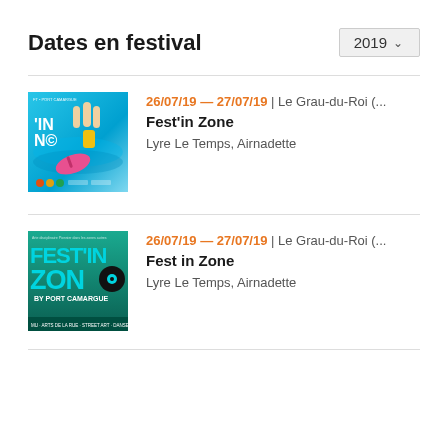Dates en festival
2019
[Figure (illustration): Festival poster for Fest'in Zone showing colorful summer underwater/beach scene with flip flops and hand gesture]
26/07/19 — 27/07/19 | Le Grau-du-Roi (...
Fest'in Zone
Lyre Le Temps, Airnadette
[Figure (illustration): Festival poster for Fest in Zone by Port Camargue showing bold teal text with vinyl record design]
26/07/19 — 27/07/19 | Le Grau-du-Roi (...
Fest in Zone
Lyre Le Temps, Airnadette